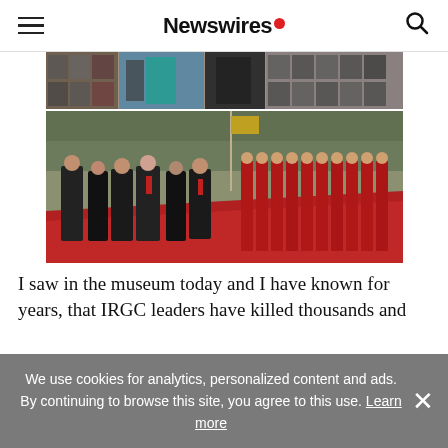Newswires
[Figure (photo): Collage of black and white portrait photos displayed in a museum setting, with some color accents — flags and a person in blue/teal clothing visible]
[Figure (photo): Group of men in dark suits walking on a red carpet, accompanied by a row of honor guards in red uniforms on the right side]
I saw in the museum today and I have known for years, that IRGC leaders have killed thousands and
We use cookies for analytics, personalized content and ads. By continuing to browse this site, you agree to this use. Learn more